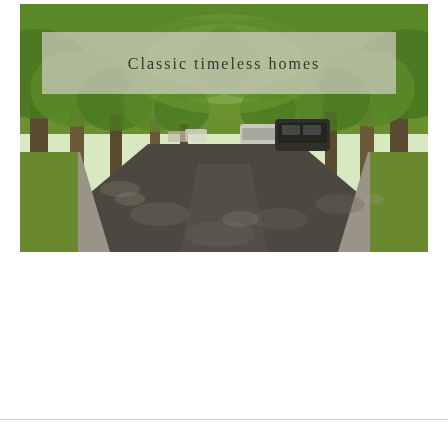[Figure (photo): Street-level photograph of a tree-lined residential road with parked cars on the sides, green leafy canopy overhead, dappled sunlight on asphalt. A semi-transparent white/grey overlay box in the upper portion contains the text 'Classic timeless homes'.]